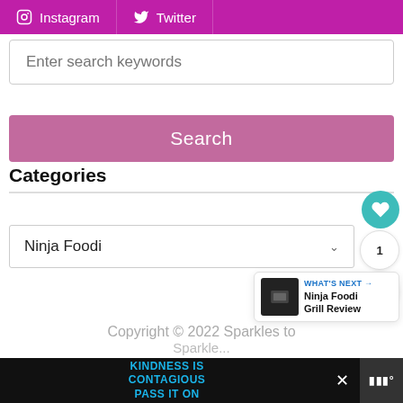[Figure (screenshot): Social media buttons bar with Instagram and Twitter links on purple background]
Enter search keywords
Search
Categories
Ninja Foodi  1
Copyright © 2022 Sparkles to
[Figure (infographic): KINDNESS IS CONTAGIOUS PASS IT ON advertisement bar at bottom]